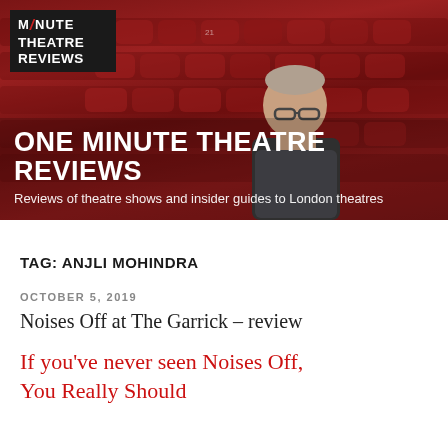[Figure (photo): Hero banner showing a man sitting in red theatre seats, with the One Minute Theatre Reviews logo in the top-left corner. The background shows rows of red theatre seating. Text overlay reads 'ONE MINUTE THEATRE REVIEWS' and the subtitle 'Reviews of theatre shows and insider guides to London theatres'.]
ONE MINUTE THEATRE REVIEWS
Reviews of theatre shows and insider guides to London theatres
TAG: ANJLI MOHINDRA
OCTOBER 5, 2019
Noises Off at The Garrick – review
If you've never seen Noises Off, You Really Should